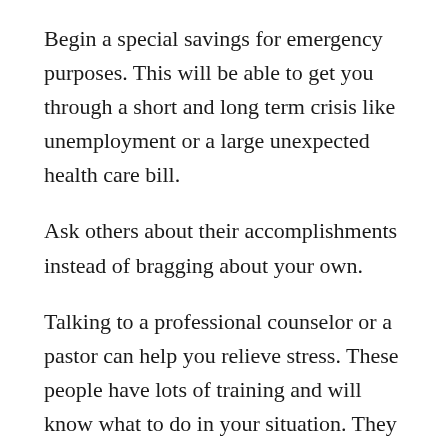Begin a special savings for emergency purposes. This will be able to get you through a short and long term crisis like unemployment or a large unexpected health care bill.
Ask others about their accomplishments instead of bragging about your own.
Talking to a professional counselor or a pastor can help you relieve stress. These people have lots of training and will know what to do in your situation. They can lend a sympathetic ear and to analyze certain things that will have you on the right path.
Make the important in your life and whether you are